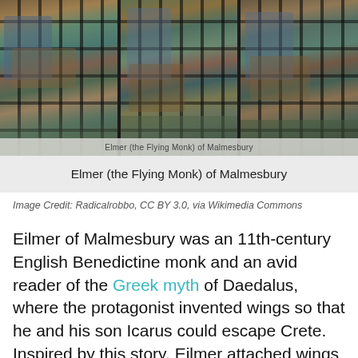[Figure (photo): Stained glass artwork depicting Elmer (the Flying Monk) of Malmesbury, shown in three panels]
Elmer (the Flying Monk) of Malmesbury
Image Credit: Radicalrobbo, CC BY 3.0, via Wikimedia Commons
Eilmer of Malmesbury was an 11th-century English Benedictine monk and an avid reader of the Greek myth of Daedalus, where the protagonist invented wings so that he and his son Icarus could escape Crete. Inspired by this story, Eilmer attached wings to his hands and feet and launched himself from the top of a tower at Malmesbury Abbey. It is said that he was airborne for 15 seconds, covering around 200 meters